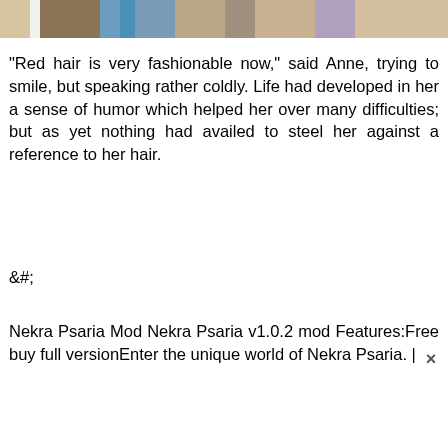[Figure (illustration): Top portion of an illustration showing characters with brown, blue and purple colors, appears to be comic or manga art]
"Red hair is very fashionable now," said Anne, trying to smile, but speaking rather coldly. Life had developed in her a sense of humor which helped her over many difficulties; but as yet nothing had availed to steel her against a reference to her hair.
&#;
Nekra Psaria Mod Nekra Psaria v1.0.2 mod Features:Free buy full versionEnter the unique world of Nekra Psaria. |